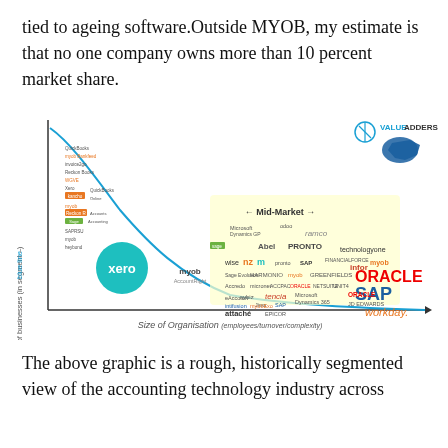tied to ageing software.Outside MYOB, my estimate is that no one company owns more than 10 percent market share.
[Figure (infographic): Market landscape chart plotting accounting software vendors by Number of businesses (y-axis, blue line) vs Size of Organisation (x-axis). Shows a curve from high-volume small business tools (Xero, MYOB, QuickBooks, Reckon, Sage) on the left through mid-market (Netsuite, Pronto, Abel, infor, Epicor, SAP, tencia, myob Exo, attache, Sage Evolution) to enterprise (Oracle, SAP, Workday, Microsoft Dynamics 365, Oracle JD Edwards) on the right. ValueAdders logo and Australian map in top right corner. Mid-Market arrow bracket in the middle.]
The above graphic is a rough, historically segmented view of the accounting technology industry across